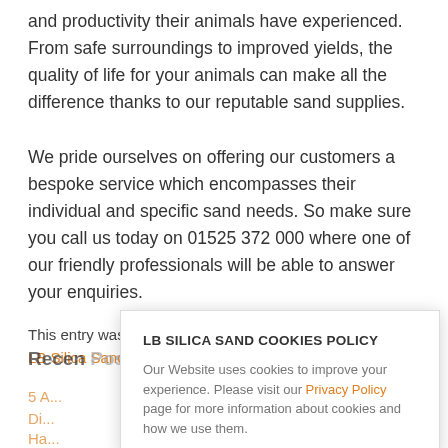and productivity their animals have experienced. From safe surroundings to improved yields, the quality of life for your animals can make all the difference thanks to our reputable sand supplies.

We pride ourselves on offering our customers a bespoke service which encompasses their individual and specific sand needs. So make sure you call us today on 01525 372 000 where one of our friendly professionals will be able to answer your enquiries.
This entry was posted in Latest News, News and tagged LB Silica Sands. Bookmark the permalink.
Recent Posts
5 A...
Di...
Ha...
LB SILICA SAND COOKIES POLICY

Our Website uses cookies to improve your experience. Please visit our Privacy Policy page for more information about cookies and how we use them.